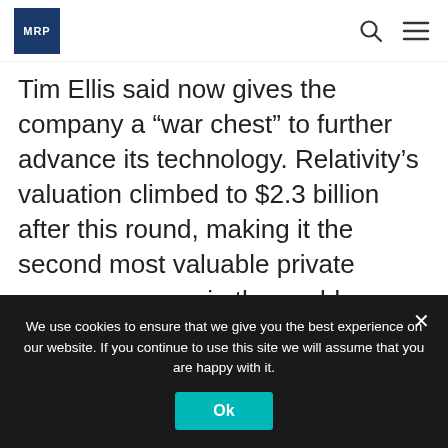MRP [logo] [search icon] [menu icon]
Tim Ellis said now gives the company a “war chest” to further advance its technology. Relativity’s valuation climbed to $2.3 billion after this round, making it the second most valuable private space company in the world backed by venture capital after SpaceX, according to Pitchbook.
It also put into service its third-
We use cookies to ensure that we give you the best experience on our website. If you continue to use this site we will assume that you are happy with it.
Ok